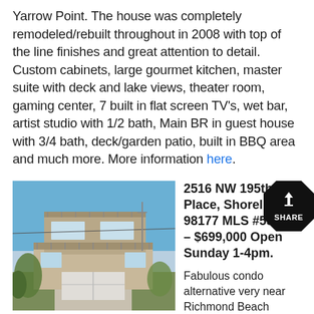Yarrow Point. The house was completely remodeled/rebuilt throughout in 2008 with top of the line finishes and great attention to detail. Custom cabinets, large gourmet kitchen, master suite with deck and lake views, theater room, gaming center, 7 built in flat screen TV's, wet bar, artist studio with 1/2 bath, Main BR in guest house with 3/4 bath, deck/garden patio, built in BBQ area and much more. More information here.
[Figure (photo): Exterior photo of a multi-story residential home with garage, balconies, and vegetation in front. Blue sky background.]
2516 NW 195th Place, Shoreline 98177 MLS #557221 – $699,000 Open Sunday 1-4pm.
Fabulous condo alternative very near Richmond Beach